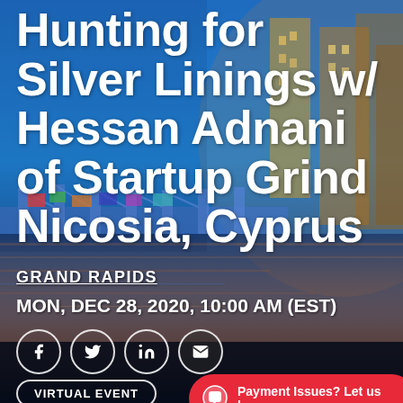[Figure (photo): City skyline of Grand Rapids at night with colorful bridge and water reflections, used as event background]
Hunting for Silver Linings w/ Hessan Adnani of Startup Grind Nicosia, Cyprus
GRAND RAPIDS
MON, DEC 28, 2020, 10:00 AM (EST)
VIRTUAL EVENT
Payment Issues? Let us know